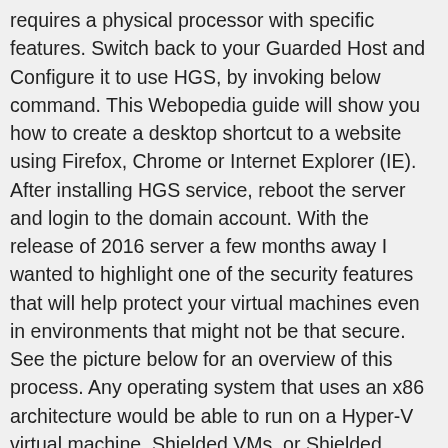requires a physical processor with specific features. Switch back to your Guarded Host and Configure it to use HGS, by invoking below command. This Webopedia guide will show you how to create a desktop shortcut to a website using Firefox, Chrome or Internet Explorer (IE). After installing HGS service, reboot the server and login to the domain account. With the release of 2016 server a few months away I wanted to highlight one of the security features that will help protect your virtual machines even in environments that might not be that secure. See the picture below for an overview of this process. Any operating system that uses an x86 architecture would be able to run on a Hyper-V virtual machine. Shielded VMs, or Shielded Virtual Machines, are a security feature introduced in Windows Server 2016 for protecting Hyper-V Generation 2 virtual machines (VMs) from unauthorized access or tampering by using a combination of techniques like Secure boot, Bit-locker encryption, virtual Trusted Platform Module and the Host Guardian Service. Für dieses Feature benötigt man jedoch eine Guarded Fabric als Infra-